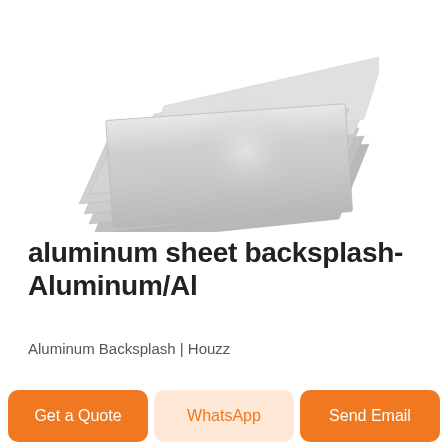[Figure (photo): Stack of multiple silver/metallic aluminum sheets fanned out, showing brushed metal surface texture, on white background]
aluminum sheet backsplash-Aluminum/Al
Aluminum Backsplash | Houzz
[Figure (photo): Horizontal thumbnail strip showing brushed silver aluminum surface texture]
Get a Quote
WhatsApp
Send Email